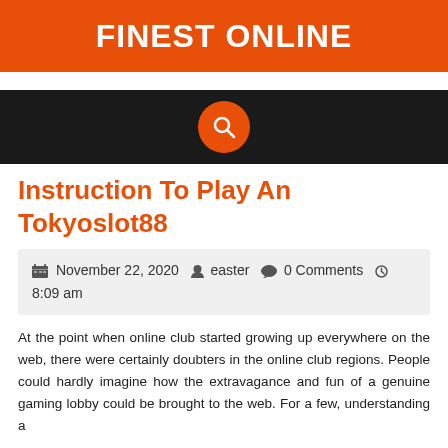FINEST ONLINE
[Figure (other): Dark navigation bar with an orange circular search icon in the center]
Instruction To Play An Tokyoslot88
November 22, 2020   easter   0 Comments   8:09 am
At the point when online club started growing up everywhere on the web, there were certainly doubters in the online club regions. People could hardly imagine how the extravagance and fun of a genuine gaming lobby could be brought to the web. For a few, understanding a